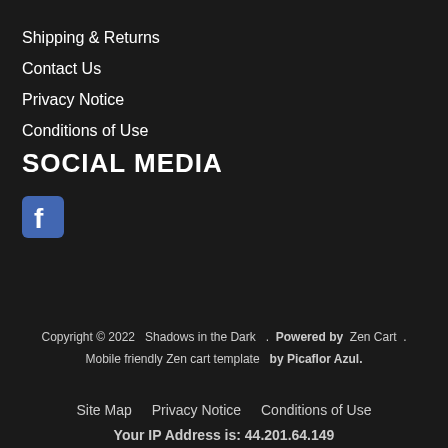Shipping & Returns
Contact Us
Privacy Notice
Conditions of Use
SOCIAL MEDIA
[Figure (logo): Facebook logo icon - blue square with white 'f']
Copyright © 2022   Shadows in the Dark  .  Powered by  Zen Cart  .  Mobile friendly Zen cart template   by Picaflor Azul.
Site Map   Privacy Notice   Conditions of Use
Your IP Address is: 44.201.64.149